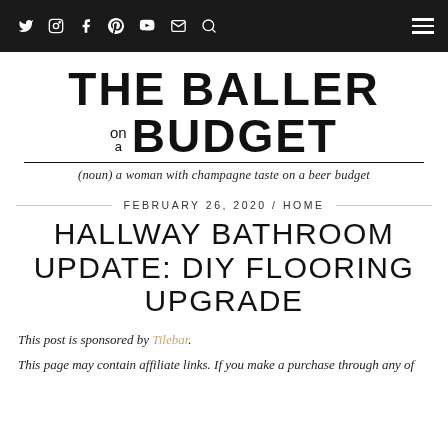Social icons nav bar with Twitter, Instagram, Facebook, Pinterest, YouTube, Email, Search, and hamburger menu
THE BALLER on a BUDGET
(noun) a woman with champagne taste on a beer budget
FEBRUARY 26, 2020 / HOME
HALLWAY BATHROOM UPDATE: DIY FLOORING UPGRADE
This post is sponsored by Tilebar.
This page may contain affiliate links. If you make a purchase through any of